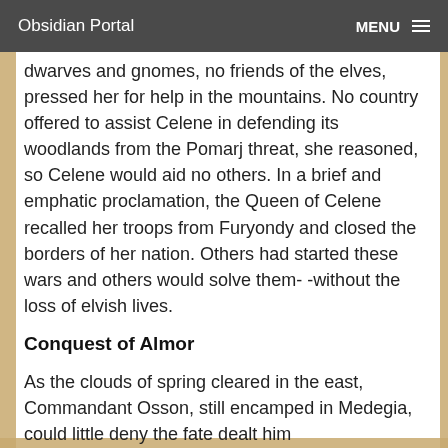Obsidian Portal  MENU
dwarves and gnomes, no friends of the elves, pressed her for help in the mountains. No country offered to assist Celene in defending its woodlands from the Pomarj threat, she reasoned, so Celene would aid no others. In a brief and emphatic proclamation, the Queen of Celene recalled her troops from Furyondy and closed the borders of her nation. Others had started these wars and others would solve them- -without the loss of elvish lives.
Conquest of Almor
As the clouds of spring cleared in the east, Commandant Osson, still encamped in Medegia, could little deny the fate dealt him